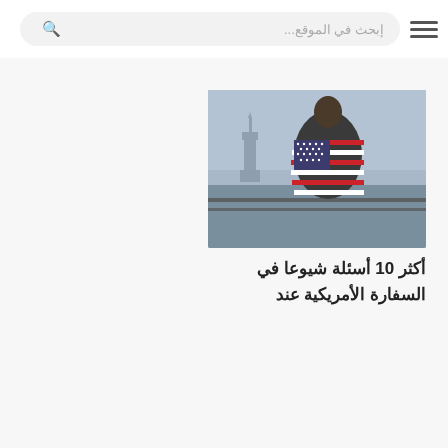إبحث في الموقع...
[Figure (photo): Person wrapped in American flag standing by a railing with the Statue of Liberty visible in the background across the water]
أكثر 10 أسئلة شيوعا في السفارة الأمريكية عند